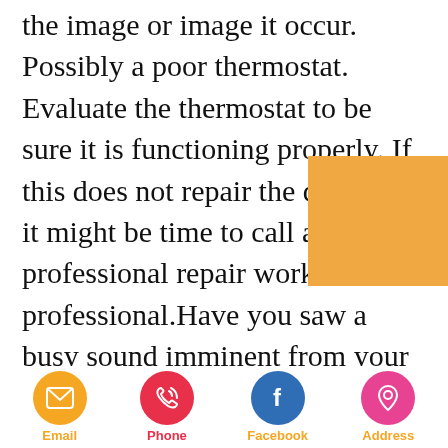the image or image it occur. Possibly a poor thermostat. Evaluate the thermostat to be sure it is functioning properly. If this does not repair the difficulty, it might be time to call a professional repair work professional.Have you saw a busy sound imminent from your wine cooler? This might suggest a problem with the compressor. The compressor condenses the cooled gas, which enhances both the pressure and temperature of your unit.
[Figure (other): Orange/yellow rectangular decorative box overlaid on text in the upper right area]
Email | Phone | Facebook | Address (icon bar with circular icons)